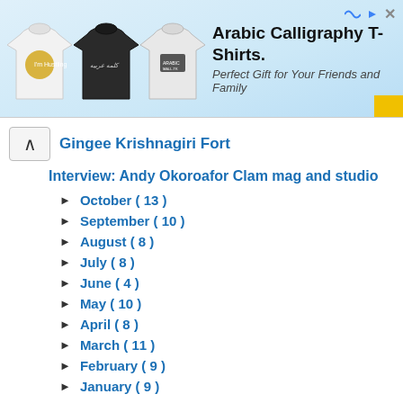[Figure (illustration): Advertisement banner for Arabic Calligraphy T-Shirts with three t-shirt images and text 'Arabic Calligraphy T-Shirts. Perfect Gift for Your Friends and Family']
Gingee Krishnagiri Fort
Interview: Andy Okoroafor Clam mag and studio
October ( 13 )
September ( 10 )
August ( 8 )
July ( 8 )
June ( 4 )
May ( 10 )
April ( 8 )
March ( 11 )
February ( 9 )
January ( 9 )
2008 ( 139 )